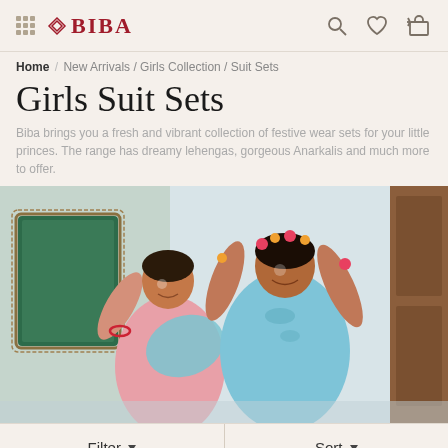BIBA
Home / New Arrivals / Girls Collection / Suit Sets
Girls Suit Sets
Biba brings you a fresh and vibrant collection of festive wear sets for your little princes. The range has dreamy lehengas, gorgeous Anarkalis and much more to offer.
[Figure (photo): Two young girls in colorful Indian festive wear (salwar suits), jumping joyfully with arms raised. One in a pink floral suit with blue dupatta, another in a light blue embroidered suit. Background shows a traditional Indian home setting with a green window.]
Filter ▾   Sort ▾